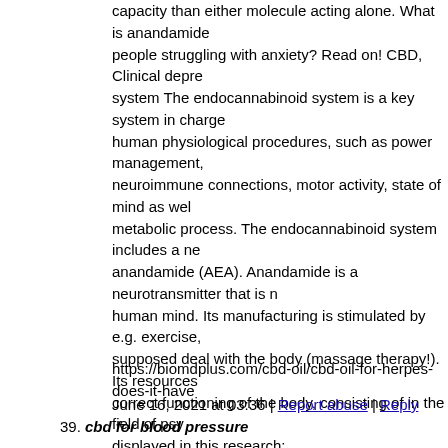capacity than either molecule acting alone. What is anandamide people struggling with anxiety? Read on! CBD, Clinical depre system The endocannabinoid system is a key system in charge human physiological procedures, such as power management, neuroimmune connections, motor activity, state of mind as wel metabolic process. The endocannabinoid system includes a ne anandamide (AEA). Anandamide is a neurotransmitter that is n human mind. Its manufacturing is stimulated by e.g. exercise, supposed deal with the body (massage therapy!). Its resources correct functioning of the body, consisting of in the field of psy displayed in this research: https://www.ncbi.nlm.nih.gov/pubm anandamide are related to a decreased danger of creating psych anandamide is also related to a positive effect on the reduction as stress and anxiety signs. This device is still not completely r rational that a strongly depressed state of mind in a specific pe with the simultaneous lack of actions targeted at its improveme the influx of unfavorable ideas. As depressive problems establi more hazardous kinds of disorders, e.g. psychosis, deceptions down this process as swiftly as feasible might end up being cru of mental illness of human performance.
https://biomdplus.com/cbd-oil/cbd-oil-for-herpes-does-it-have
June 16, 2021 at 03:36 | Report abuse | Reply
39. cbd for blood pressure